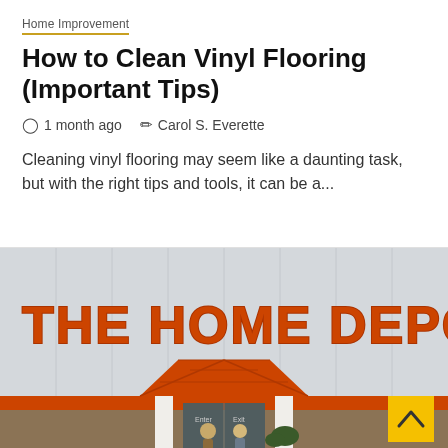Home Improvement
How to Clean Vinyl Flooring (Important Tips)
1 month ago   Carol S. Everette
Cleaning vinyl flooring may seem like a daunting task, but with the right tips and tools, it can be a...
[Figure (photo): Exterior photo of a The Home Depot store entrance, showing large orange letters 'THE HOME DEPOT' on the building facade, orange roof trim, a peaked entrance canopy, white columns, and customers near the entrance.]